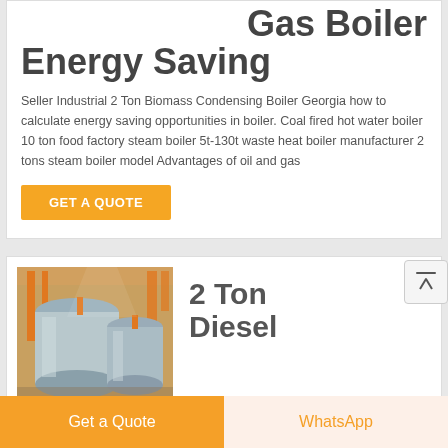Gas Boiler Energy Saving
Seller Industrial 2 Ton Biomass Condensing Boiler Georgia how to calculate energy saving opportunities in boiler. Coal fired hot water boiler 10 ton food factory steam boiler 5t-130t waste heat boiler manufacturer 2 tons steam boiler model Advantages of oil and gas
GET A QUOTE
[Figure (photo): Industrial boiler equipment in a factory setting, showing large cylindrical metal boiler tanks with orange pipes]
2 Ton Diesel Condensing Boiler
Get a Quote
WhatsApp